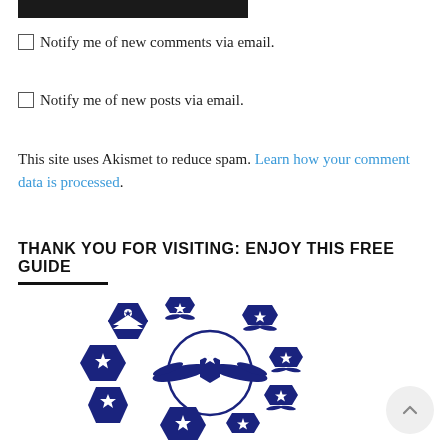[Figure (other): Black filled rectangle at top — partial UI element or header bar]
Notify me of new comments via email.
Notify me of new posts via email.
This site uses Akismet to reduce spam. Learn how your comment data is processed.
THANK YOU FOR VISITING: ENJOY THIS FREE GUIDE
[Figure (illustration): US Air Force rank insignia badges/chevrons arranged in a collage, including Senior Master Sergeant, Chief Master Sergeant, and other enlisted ranks with wings emblem in center, rendered in dark navy blue]